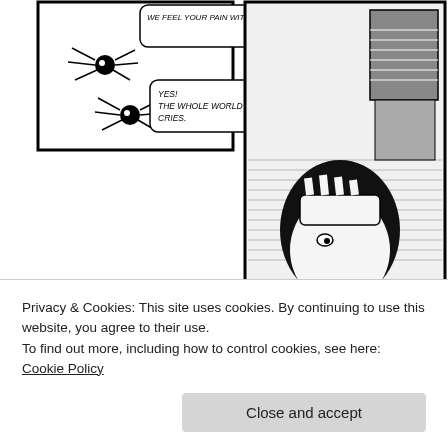[Figure (illustration): Comic strip page showing black and white hand-drawn panels. Top left panel: two small spider-like creatures with speech bubbles saying 'WE FEEL YOUR PAIN WITH YOU!' and 'YES! THE WHOLE WORLD CRIES.' Top right panel: a distressed person with head in hand, leaning over, with architectural ruins in background. A speech bubble reads 'KIND LITTLE CREATURES, FOR YOUR KIND WORDS I OFFER YOU ANYTHING FROM MY REALM.' Middle panel: two spider creatures side by side looking sad. Lower portion shows large dark curved shape and more panel fragments with text 'TAKE IT AND LEAVE.']
Privacy & Cookies: This site uses cookies. By continuing to use this website, you agree to their use.
To find out more, including how to control cookies, see here: Cookie Policy
Close and accept